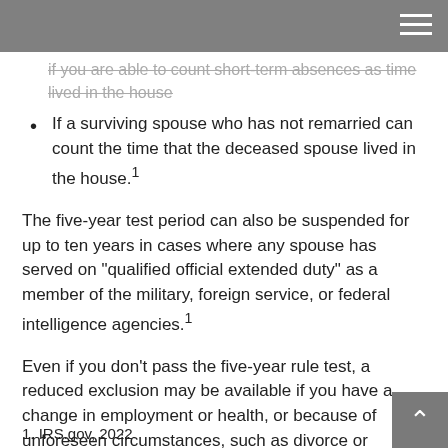if you are able to count short-term absences as time lived in the house
If a surviving spouse who has not remarried can count the time that the deceased spouse lived in the house.1
The five-year test period can also be suspended for up to ten years in cases where any spouse has served on "qualified official extended duty" as a member of the military, foreign service, or federal intelligence agencies.1
Even if you don't pass the five-year rule test, a reduced exclusion may be available if you have a change in employment or health, or because of unforeseen circumstances, such as divorce or multiple births from a single pregnancy. Please speak with a professional with tax expertise regarding your situation.
1. IRS.gov, 2022